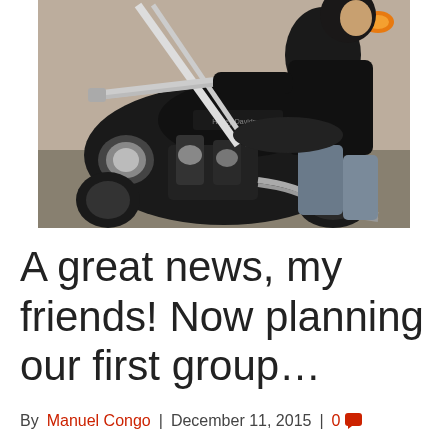[Figure (photo): Person sitting on a Harley-Davidson motorcycle, wearing a black jacket and jeans, photographed from a low angle showing the engine and chrome details prominently.]
A great news, my friends! Now planning our first group…
By Manuel Congo | December 11, 2015 | 0